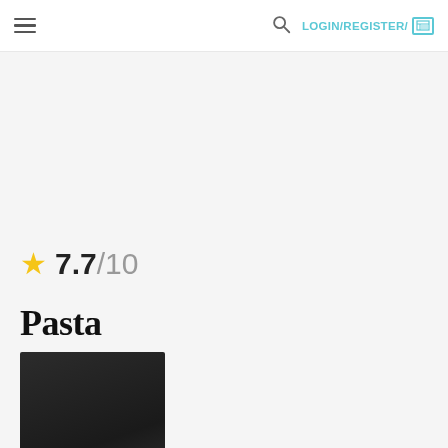≡  LOGIN/REGISTER/ [newspaper icon]
★ 7.7/10
Pasta
[Figure (photo): Dark, mostly black movie poster or thumbnail image for 'Pasta']